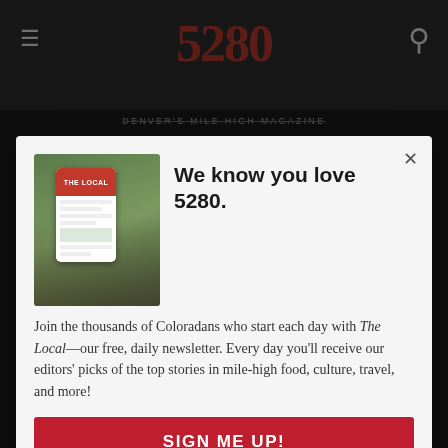5280 — DENVER'S MILE HIGH MAGAZINE
We know you love 5280.
Join the thousands of Coloradans who start each day with The Local—our free, daily newsletter. Every day you'll receive our editors' picks of the top stories in mile-high food, culture, travel, and more!
SIGN ME UP!
5280 Directories
Events
Dentists
Doctors